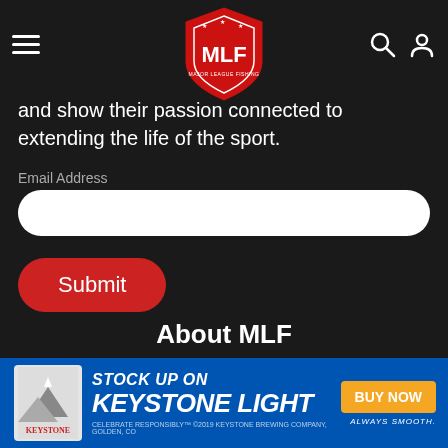[Figure (logo): MLF (Major League Fishing) shield logo in red and white at top center of nav bar]
and show their passionate connected to extending the life of the sport.
Email Address
Submit
[Figure (infographic): Social media icons row: Facebook (blue), Twitter (light blue), Instagram (dark teal), YouTube (red)]
About MLF
[Figure (infographic): Keystone Light advertisement banner: STOCK UP ON KEYSTONE LIGHT with BUY NOW button and ALWAYS SMOOTH text. Blue background with mountain imagery.]